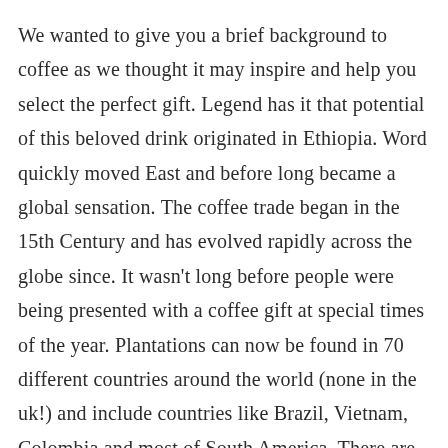We wanted to give you a brief background to coffee as we thought it may inspire and help you select the perfect gift. Legend has it that potential of this beloved drink originated in Ethiopia. Word quickly moved East and before long became a global sensation. The coffee trade began in the 15th Century and has evolved rapidly across the globe since. It wasn't long before people were being presented with a coffee gift at special times of the year. Plantations can now be found in 70 different countries around the world (none in the uk!) and include countries like Brazil, Vietnam, Colombia and most of South America. There are now so many aromas, flavours and styles of coffee in production around the world it would take a lifetimes to sample them all. The world now understands coffee very well, and indeed know it's benefits including living a longer life!